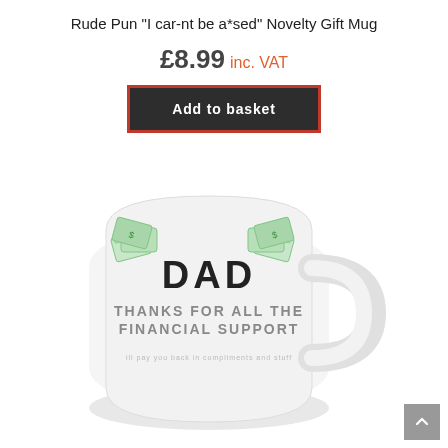Rude Pun "I car-nt be a*sed" Novelty Gift Mug
£8.99 inc. VAT
Add to basket
[Figure (photo): White ceramic mug with text: DAD THANKS FOR ALL THE FINANCIAL SUPPORT ill pay you back in compliments and stuff, with green money fan illustrations on either side of DAD]